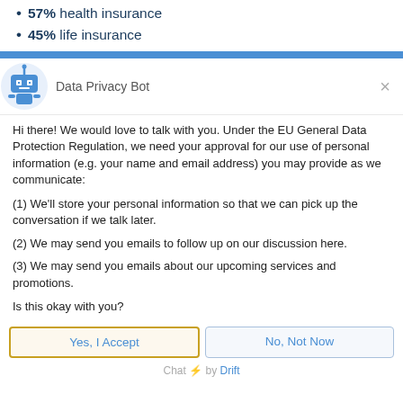57% health insurance
45% life insurance
[Figure (screenshot): Data Privacy Bot chat widget header with robot icon and close button]
Hi there! We would love to talk with you. Under the EU General Data Protection Regulation, we need your approval for our use of personal information (e.g. your name and email address) you may provide as we communicate:
(1) We'll store your personal information so that we can pick up the conversation if we talk later.
(2) We may send you emails to follow up on our discussion here.
(3) We may send you emails about our upcoming services and promotions.
Is this okay with you?
Yes, I Accept | No, Not Now
Chat ⚡ by Drift